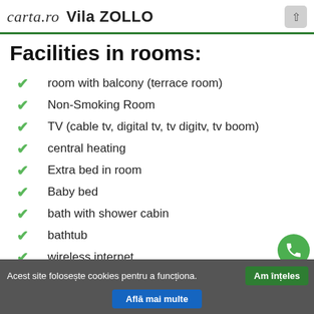carta.ro  Vila ZOLLO
Facilities in rooms:
room with balcony (terrace room)
Non-Smoking Room
TV (cable tv, digital tv, tv digitv, tv boom)
central heating
Extra bed in room
Baby bed
bath with shower cabin
bathtub
wireless internet
access to animals
Acest site folosește cookies pentru a funcționa.
Am înțeles
Află mai multe